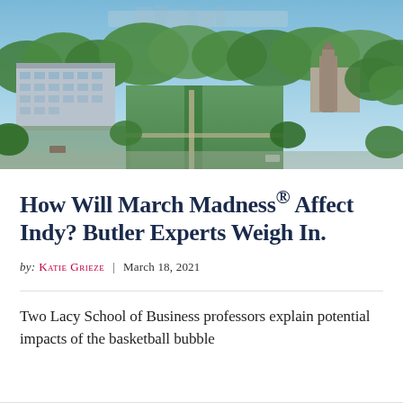[Figure (photo): Aerial view of Butler University campus showing green lawns, tree-lined paths, academic buildings and distant city skyline under a blue sky]
How Will March Madness® Affect Indy? Butler Experts Weigh In.
by: Katie Grieze | March 18, 2021
Two Lacy School of Business professors explain potential impacts of the basketball bubble